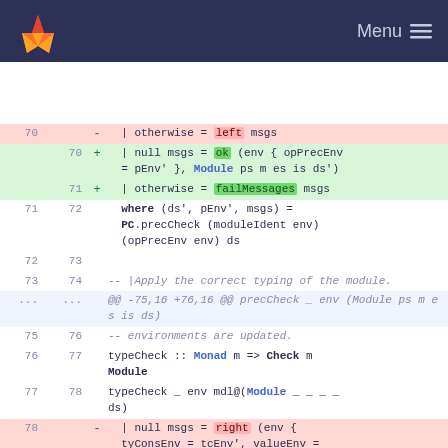GitLab Menu
[Figure (screenshot): Code diff view showing Haskell source changes with line numbers, removed lines (red background), added lines (green background), and context lines.]
70  |   - | otherwise = left msgs
70  |   + | null msgs = ok (env { opPrecEnv = pEnv' }, Module ps m es is ds')
71  |   + | otherwise = failMessages msgs
71  72    where (ds', pEnv', msgs) =
         PC.precCheck (moduleIdent env)
         (opPrecEnv env) ds
72  73    (empty)
73  74    -- |Apply the correct typing of the module.
... ...    @@ -75,16 +76,16 @@ precCheck _ env (Module ps m es is ds)
75  76    -- environments are updated.
76  77    typeCheck :: Monad m => Check m Module
77  78    typeCheck _ env mdl@(Module _ _ _ _ ds)
78      - | null msgs = right (env { tyConsEnv = tcEnv', valueEnv = tyEnv' }, mdl)